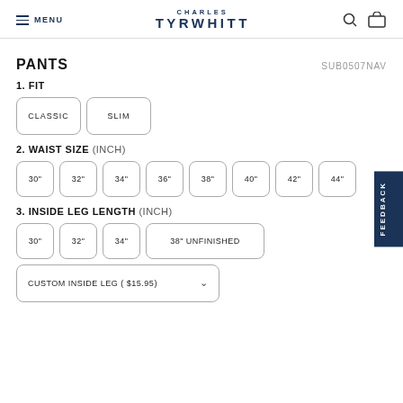MENU | CHARLES TYRWHITT | [search] [cart]
PANTS
SUB0507NAV
1. FIT
CLASSIC
SLIM
2. WAIST SIZE (INCH)
30"
32"
34"
36"
38"
40"
42"
44"
3. INSIDE LEG LENGTH (INCH)
30"
32"
34"
38" UNFINISHED
CUSTOM INSIDE LEG ( $15.95)